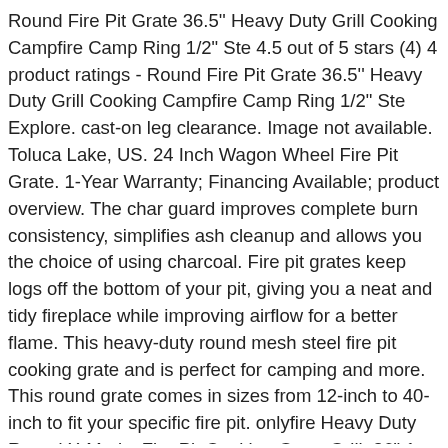Round Fire Pit Grate 36.5'' Heavy Duty Grill Cooking Campfire Camp Ring 1/2" Ste 4.5 out of 5 stars (4) 4 product ratings - Round Fire Pit Grate 36.5'' Heavy Duty Grill Cooking Campfire Camp Ring 1/2" Ste Explore. cast-on leg clearance. Image not available. Toluca Lake, US. 24 Inch Wagon Wheel Fire Pit Grate. 1-Year Warranty; Financing Available; product overview. The char guard improves complete burn consistency, simplifies ash cleanup and allows you the choice of using charcoal. Fire pit grates keep logs off the bottom of your pit, giving you a neat and tidy fireplace while improving airflow for a better flame. This heavy-duty round mesh steel fire pit cooking grate and is perfect for camping and more. This round grate comes in sizes from 12-inch to 40-inch to fit your specific fire pit. onlyfire Heavy Duty Round X-Marks Fire Pit Cooking Grate Grill, 36" 1. 20 Inch Wagon Wheel Fire Pit Grate. Standard Round Fire Pit Grate with char guard made of welded steel bar stock and electrostatically applied high heat, weather-resistant black finish. Comparable to the “CampfireGrill” grill above, this one